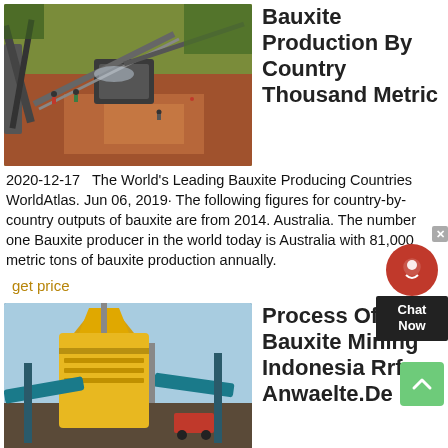[Figure (photo): Aerial view of a bauxite mining operation with conveyor belts and workers on reddish-brown earth]
Bauxite Production By Country Thousand Metric
2020-12-17  The World's Leading Bauxite Producing Countries WorldAtlas. Jun 06, 2019· The following figures for country-by-country outputs of bauxite are from 2014. Australia. The number one Bauxite producer in the world today is Australia with 81,000 metric tons of bauxite production annually.
get price
[Figure (photo): Yellow industrial mining crusher/cone crusher machinery at a bauxite facility]
Process Of Bauxite Mining Indonesia Rrf-Anwaelte.De
Process Of Bauxite Mining Indonesia.